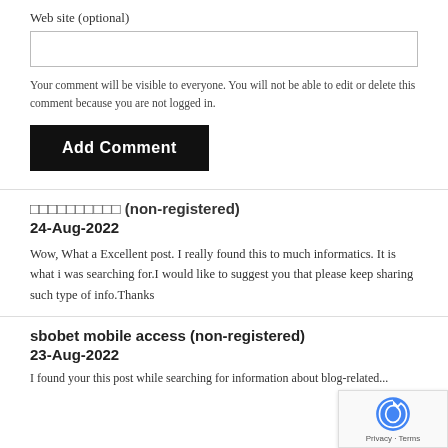Web site (optional)
Your comment will be visible to everyone. You will not be able to edit or delete this comment because you are not logged in.
Add Comment
□□□□□□□□□□ (non-registered)
24-Aug-2022
Wow, What a Excellent post. I really found this to much informatics. It is what i was searching for.I would like to suggest you that please keep sharing such type of info.Thanks
sbobet mobile access (non-registered)
23-Aug-2022
I found your this post while searching for information about blog-related...